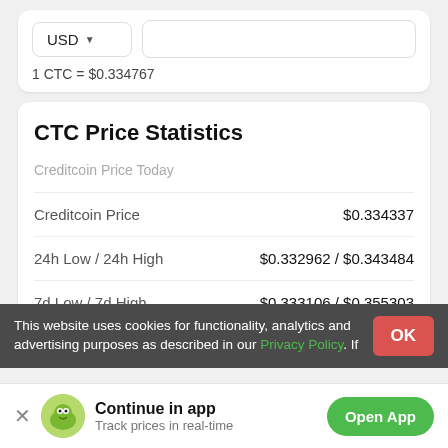USD
1 CTC = $0.334767
CTC Price Statistics
Creditcoin Price Today
| Metric | Value |
| --- | --- |
| Creditcoin Price | $0.334337 |
| 24h Low / 24h High | $0.332962 / $0.343484 |
| 7d Low / 7d High | $0.333106 / $0.355303 |
This website uses cookies for functionality, analytics and advertising purposes as described in our Privacy Policy. If
Continue in app
Track prices in real-time